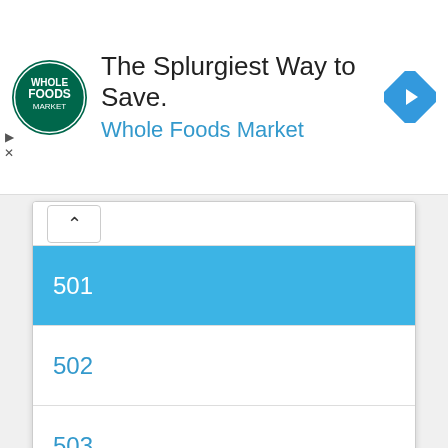[Figure (screenshot): Whole Foods Market advertisement banner with circular green logo, text 'The Splurgiest Way to Save.' and 'Whole Foods Market' in blue, and a blue diamond navigation icon on the right.]
501
502
503
504
505
506